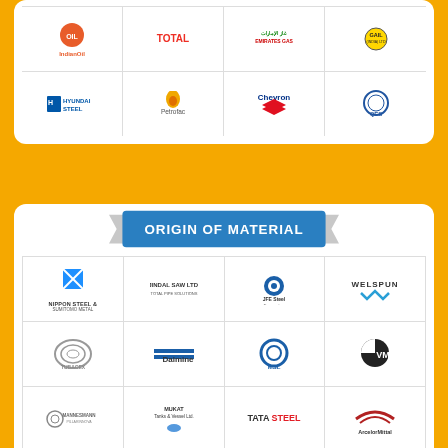[Figure (infographic): Top card with client logos: IndianOil, Total, Emirates Gas, GAIL (row 1); Hyundai Steel, Petrofac, Chevron, QES (row 2)]
[Figure (infographic): Bottom card with 'Origin of Material' banner and supplier logos: Nippon Steel & Sumitomo Metal, Jindal Saw Ltd., JFE Steel Corporation, Welspun (row 1); Tubacex, Dalmine, MSL, VM (row 2); Mannesmann, Mukat Tanks & Vessel Ltd., Tata Steel, ArcelorMittal (row 3)]